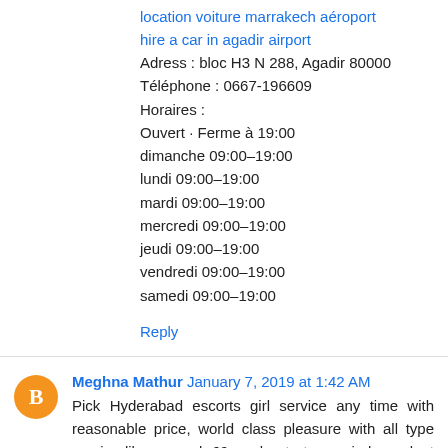location voiture marrakech aéroport
hire a car in agadir airport
Adress : bloc H3 N 288, Agadir 80000
Téléphone : 0667-196609
Horaires :
Ouvert · Ferme à 19:00
dimanche 09:00–19:00
lundi 09:00–19:00
mardi 09:00–19:00
mercredi 09:00–19:00
jeudi 09:00–19:00
vendredi 09:00–19:00
samedi 09:00–19:00
Reply
Meghna Mathur January 7, 2019 at 1:42 AM
Pick Hyderabad escorts girl service any time with reasonable price, world class pleasure with all type service like as anal, 69, oral ant etc. our independent staff is waiting for your positive response.